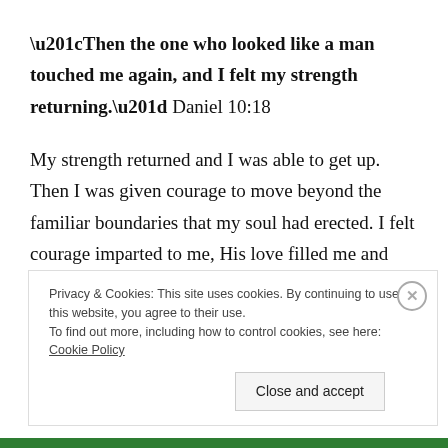“Then the one who looked like a man touched me again, and I felt my strength returning.” Daniel 10:18
My strength returned and I was able to get up. Then I was given courage to move beyond the familiar boundaries that my soul had erected. I felt courage imparted to me, His love filled me and His goodness
Privacy & Cookies: This site uses cookies. By continuing to use this website, you agree to their use. To find out more, including how to control cookies, see here: Cookie Policy
Close and accept